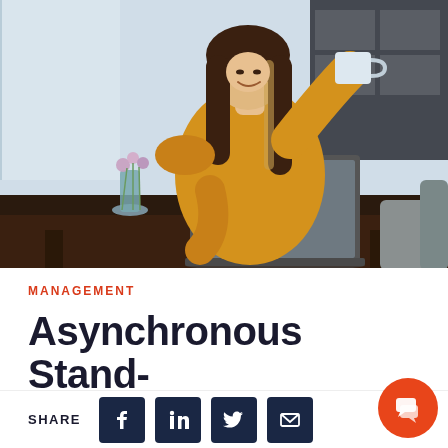[Figure (photo): Woman in yellow sweater smiling at laptop while holding a coffee mug, sitting at a dark wooden table with a small flower vase, home interior background]
MANAGEMENT
Asynchronous Stand-Up Meetings: A Guide
SHARE [Facebook] [LinkedIn] [Twitter] [Email]